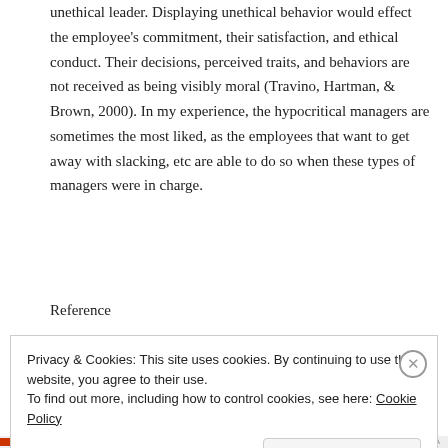unethical leader. Displaying unethical behavior would effect the employee's commitment, their satisfaction, and ethical conduct. Their decisions, perceived traits, and behaviors are not received as being visibly moral (Travino, Hartman, & Brown, 2000). In my experience, the hypocritical managers are sometimes the most liked, as the employees that want to get away with slacking, etc are able to do so when these types of managers were in charge.
Reference
Privacy & Cookies: This site uses cookies. By continuing to use this website, you agree to their use.
To find out more, including how to control cookies, see here: Cookie Policy
Close and accept